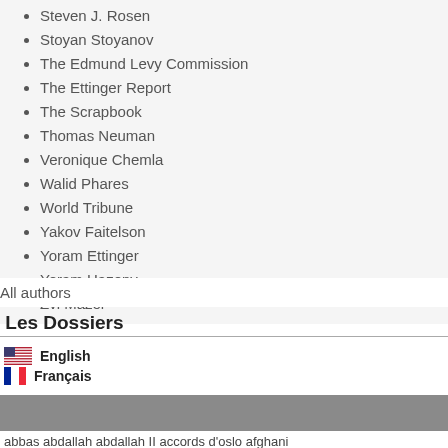Steven J. Rosen
Stoyan Stoyanov
The Edmund Levy Commission
The Ettinger Report
The Scrapbook
Thomas Neuman
Veronique Chemla
Walid Phares
World Tribune
Yakov Faitelson
Yoram Ettinger
Yoram Hazony
Zvi Mazel
All authors
Les Dossiers
English
Français
abbas abdallah abdallah II accords d'oslo afghani
Archives
August 2022